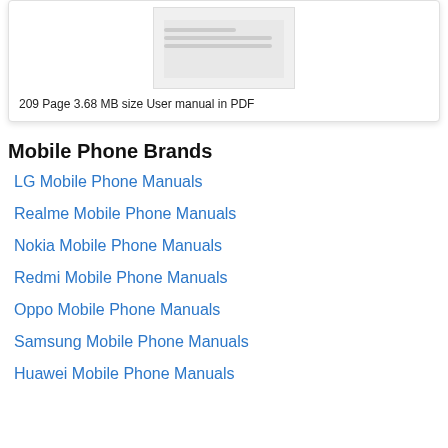[Figure (screenshot): Thumbnail preview of a PDF document page showing faint text lines]
209 Page 3.68 MB size User manual in PDF
Mobile Phone Brands
LG Mobile Phone Manuals
Realme Mobile Phone Manuals
Nokia Mobile Phone Manuals
Redmi Mobile Phone Manuals
Oppo Mobile Phone Manuals
Samsung Mobile Phone Manuals
Huawei Mobile Phone Manuals